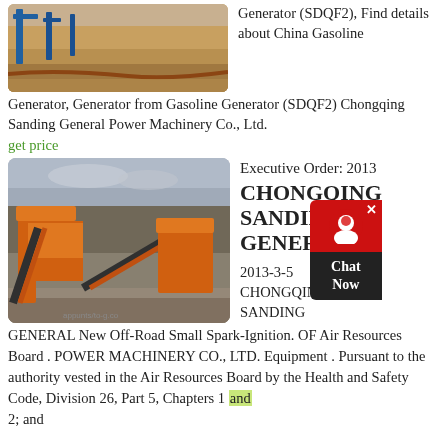[Figure (photo): Industrial equipment/machinery at outdoor site with blue metal frames, sandy ground]
Generator (SDQF2), Find details about China Gasoline Generator, Generator from Gasoline Generator (SDQF2) Chongqing Sanding General Power Machinery Co., Ltd.
get price
[Figure (photo): Large orange industrial crushing/screening machinery at an outdoor aggregate/quarry site with grey sky]
Executive Order: 2013 CHONGQING SANDING GENERAL
2013-3-5 CHONGQING SANDING GENERAL New Off-Road Small Spark-Ignition. OF Air Resources Board . POWER MACHINERY CO., LTD. Equipment . Pursuant to the authority vested in the Air Resources Board by the Health and Safety Code, Division 26, Part 5, Chapters 1 and 2; and